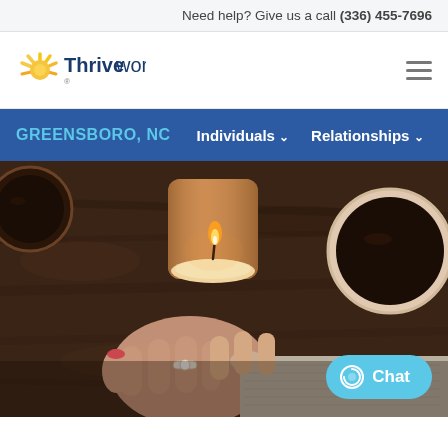Need help? Give us a call (336) 455-7696
[Figure (logo): Thriveworks logo with sunburst icon and brand name]
Individuals ∨   Relationships ∨
[Figure (photo): Overhead photo of two people holding hands across a wooden table with a lit candle and two cups of coffee]